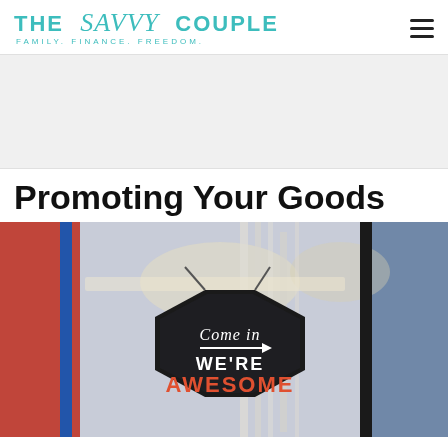THE Savvy COUPLE — FAMILY. FINANCE. FREEDOM.
[Figure (other): Advertisement banner placeholder, light gray background]
Promoting Your Goods
[Figure (photo): Photo of a store front with a black hexagonal sign reading 'Come in WE'RE AWESOME' with an arrow, blurred colorful store interior in background]